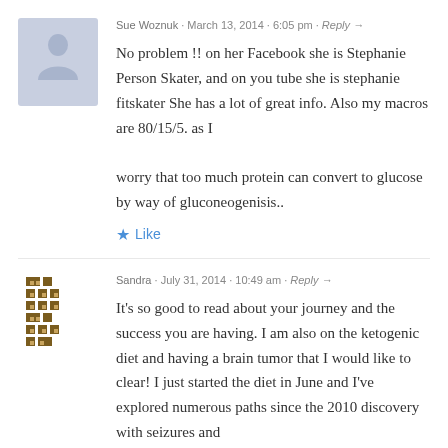Sue Woznuk · March 13, 2014 · 6:05 pm · Reply →
No problem !! on her Facebook she is Stephanie Person Skater, and on you tube she is stephanie fitskater She has a lot of great info. Also my macros are 80/15/5. as I worry that too much protein can convert to glucose by way of gluconeogenisis..
★ Like
Sandra · July 31, 2014 · 10:49 am · Reply →
It's so good to read about your journey and the success you are having. I am also on the ketogenic diet and having a brain tumor that I would like to clear! I just started the diet in June and I've explored numerous paths since the 2010 discovery with seizures and